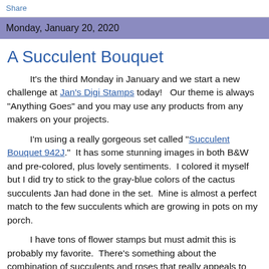Share
Monday, January 20, 2020
A Succulent Bouquet
It's the third Monday in January and we start a new challenge at Jan's Digi Stamps today!   Our theme is always "Anything Goes" and you may use any products from any makers on your projects.
I'm using a really gorgeous set called "Succulent Bouquet 942J."  It has some stunning images in both B&W and pre-colored, plus lovely sentiments.  I colored it myself but I did try to stick to the gray-blue colors of the cactus succulents Jan had done in the set.  Mine is almost a perfect match to the few succulents which are growing in pots on my porch.
I have tons of flower stamps but must admit this is probably my favorite.  There's something about the combination of succulents and roses that really appeals to me.